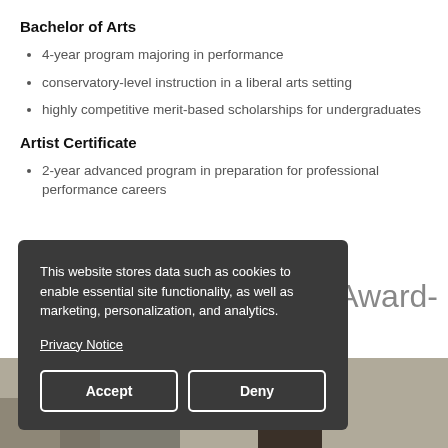Bachelor of Arts
4-year program majoring in performance
conservatory-level instruction in a liberal arts setting
highly competitive merit-based scholarships for undergraduates
Artist Certificate
2-year advanced program in preparation for professional performance careers
Award-
[Figure (photo): Person photographed outdoors, visible from shoulders up, lower portion of page]
This website stores data such as cookies to enable essential site functionality, as well as marketing, personalization, and analytics.

Privacy Notice

Accept   Deny